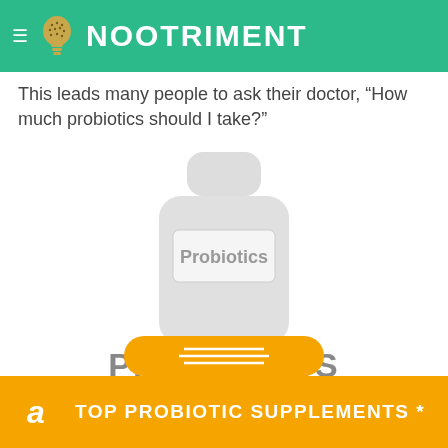NooTriment
This leads many people to ask their doctor, “How much probiotics should I take?”
[Figure (illustration): Illustration of a generic supplement bottle labeled 'Probiotics' in gray tones]
PROBIOTICS
TOP PROBIOTIC SUPPLEMENTS *